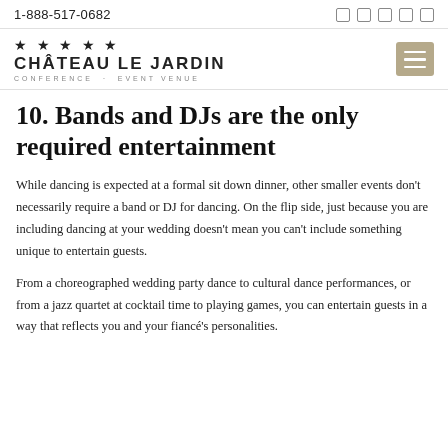1-888-517-0682
[Figure (logo): Château Le Jardin Conference Event Venue logo with 5 stars above the name]
10. Bands and DJs are the only required entertainment
While dancing is expected at a formal sit down dinner, other smaller events don't necessarily require a band or DJ for dancing. On the flip side, just because you are including dancing at your wedding doesn't mean you can't include something unique to entertain guests.
From a choreographed wedding party dance to cultural dance performances, or from a jazz quartet at cocktail time to playing games, you can entertain guests in a way that reflects you and your fiancé's personalities.